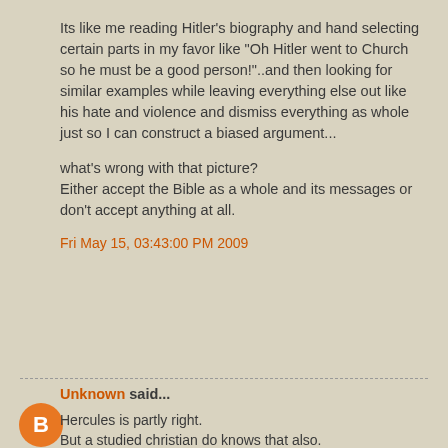Its like me reading Hitler's biography and hand selecting certain parts in my favor like "Oh Hitler went to Church so he must be a good person!"..and then looking for similar examples while leaving everything else out like his hate and violence and dismiss everything as whole just so I can construct a biased argument...
what's wrong with that picture?
Either accept the Bible as a whole and its messages or don't accept anything at all.
Fri May 15, 03:43:00 PM 2009
Unknown said...
Hercules is partly right.
But a studied christian do knows that also.
God indeed kills, as you have pointed, and the idea of only a "all loving" God is a mistake as true as seen God only as a vengeful forever punishing being.
There are a lot of christians, also, who wrongly believ...